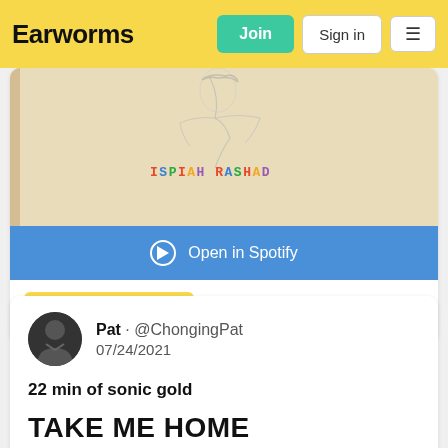Earworms · Join · Sign in · ☰
[Figure (photo): Album art for Isaiah Rashad showing a hand-drawn pencil sketch on beige paper with the text 'ISAIAH RASHAD' written in colorful letters]
Open in Spotify
southern hip hop
Pat · @ChongingPat
07/24/2021
22 min of sonic gold
TAKE ME HOME
Vince Staples